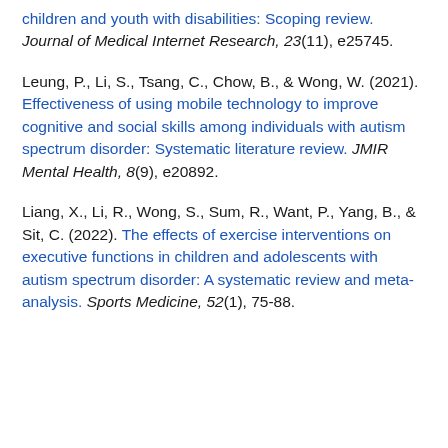children and youth with disabilities: Scoping review. Journal of Medical Internet Research, 23(11), e25745.
Leung, P., Li, S., Tsang, C., Chow, B., & Wong, W. (2021). Effectiveness of using mobile technology to improve cognitive and social skills among individuals with autism spectrum disorder: Systematic literature review. JMIR Mental Health, 8(9), e20892.
Liang, X., Li, R., Wong, S., Sum, R., Want, P., Yang, B., & Sit, C. (2022). The effects of exercise interventions on executive functions in children and adolescents with autism spectrum disorder: A systematic review and meta-analysis. Sports Medicine, 52(1), 75-88.